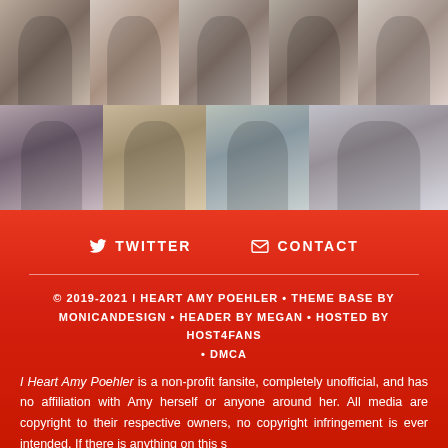[Figure (photo): Photo collage grid of event photos featuring women at what appears to be a film festival red carpet event with branded backdrops. Top row has 5 photos, bottom row has 4 photos showing various women posing.]
TWITTER  CONTACT
© 2019-2021 I HEART AMY POEHLER • THEME BASE BY MONICANDESIGN • HEADER BY MEGAN • HOSTED BY HOST4FANS • DMCA
I Heart Amy Poehler is a non-profit fansite, completely unofficial, and has no affiliation with Amy herself or anyone around her. All media are copyright to their respective owners, no copyright infringement is ever intended. If there is anything on this s